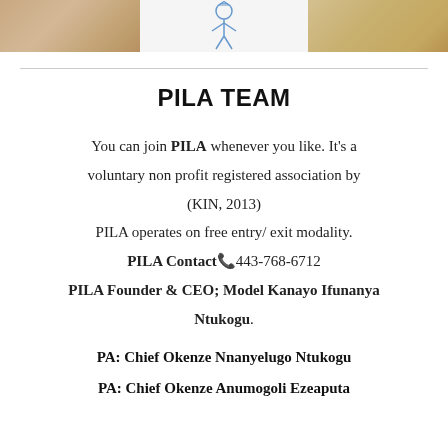[Figure (photo): Three cropped photos side by side: left shows a person in white, center shows a sketch/illustration of a figure, right shows a person in yellow/tan clothing]
PILA TEAM
You can join PILA whenever you like. It's a voluntary non profit registered association by (KIN, 2013)
PILA operates on free entry/ exit modality.
PILA Contact 📞 443-768-6712
PILA Founder & CEO; Model Kanayo Ifunanya Ntukogu.
PA: Chief Okenze Nnanyelugo Ntukogu
PA: Chief Okenze Anumogoli Ezeaputa